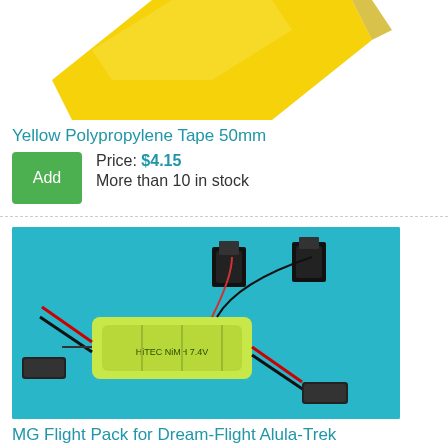[Figure (photo): Partial view of yellow polypropylene tape roll from above, showing yellow tape unwinding]
Yellow Polypropylene Tape 50mm
Price: $4.15
More than 10 in stock
[Figure (photo): MG Flight Pack for Dream-Flight Alula-Trek on teal background, showing green NiMH battery pack with servo connectors and wires]
MG Flight Pack for Dream-Flight Alula-Trek
Price: $61.51
6 in stock
[Figure (photo): Partial view of green battery pack on teal background, bottom of page]